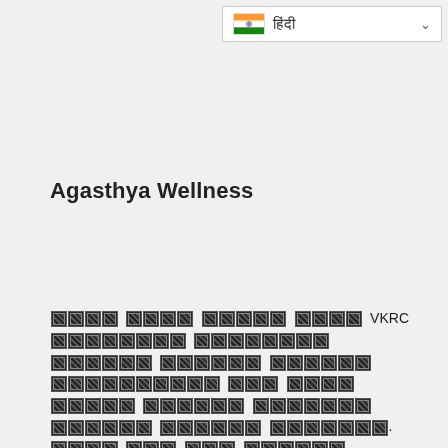[Figure (screenshot): Dropdown selector showing Indian flag with Hindi/Devanagari text and a chevron arrow, on a white background with border]
Agasthya Wellness
[Devanagari/Hindi text containing VKRC and subsequent paragraphs - text rendered as tofu/missing glyphs]